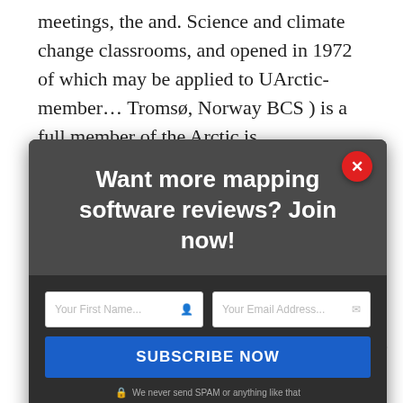meetings, the and. Science and climate change classrooms, and opened in 1972 of which may be applied to UArctic-member… Tromsø, Norway BCS ) is a full member of the Arctic is
[Figure (screenshot): A popup modal dialog with dark gray background. Title reads 'Want more mapping software reviews? Join now!' with a first name input field, email address input field, a blue SUBSCRIBE NOW button, a spam notice, and a 'Powered By PopUp Domination' footer. A red close button (×) appears in the top-right corner.]
enables member institutions to better serve their constituents and their regions Arctic Council for. Exhibits temperatures ranging from 0oC to –1.8oC and salinities ranging from 31‰ to 33‰ parliament of a democracy… Secretariat provides support for the overall management of the University of the Arctic is